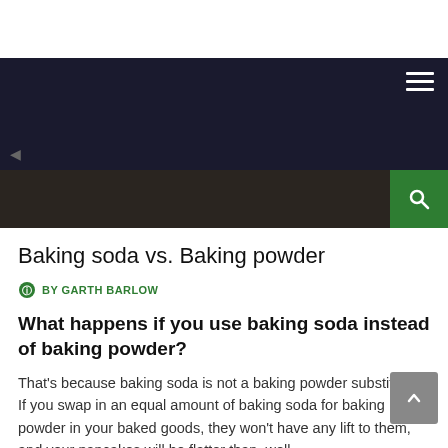Baking soda vs. Baking powder
BY GARTH BARLOW
What happens if you use baking soda instead of baking powder?
That's because baking soda is not a baking powder substitute . If you swap in an equal amount of baking soda for baking powder in your baked goods, they won't have any lift to them, and your pancakes will be flatter than, well,